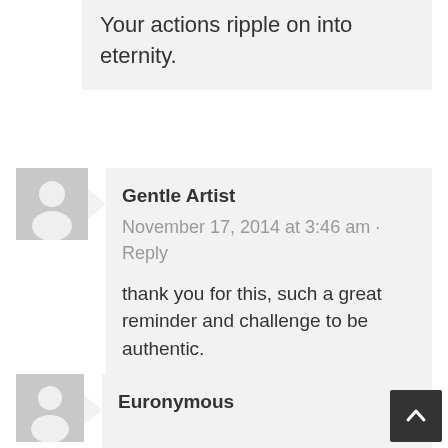Your actions ripple on into eternity.
Gentle Artist
November 17, 2014 at 3:46 am · Reply

thank you for this, such a great reminder and challenge to be authentic.
Euronymous